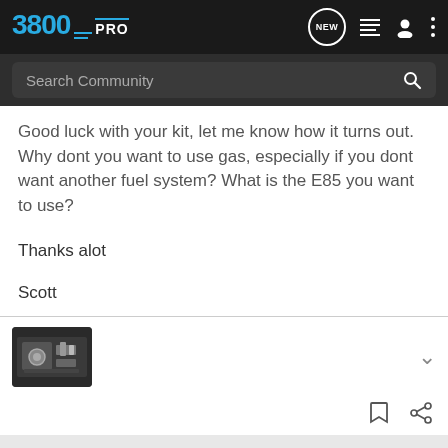3800PRO
Good luck with your kit, let me know how it turns out. Why dont you want to use gas, especially if you dont want another fuel system? What is the E85 you want to use?

Thanks alot

Scott
[Figure (photo): Thumbnail image of a car engine bay, appears to show a supercharged or modified engine with silver components]
Bookmark and Share icons